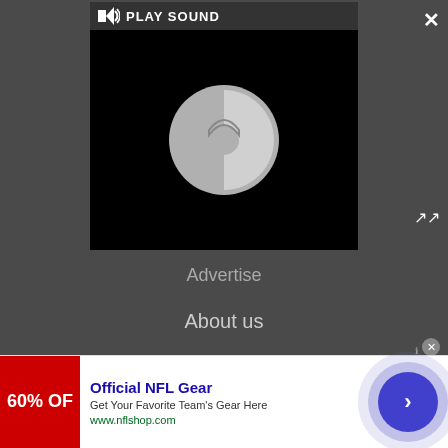[Figure (screenshot): Video player with play sound button and loading spinner on black background]
Advertise
About us
Coupons
Careers
Do not sell my info
© Future US, Inc. Full 7th Floor, 130 West 42nd Street, New
[Figure (screenshot): Advertisement banner for Official NFL Gear from nflshop.com showing 60% off promotion]